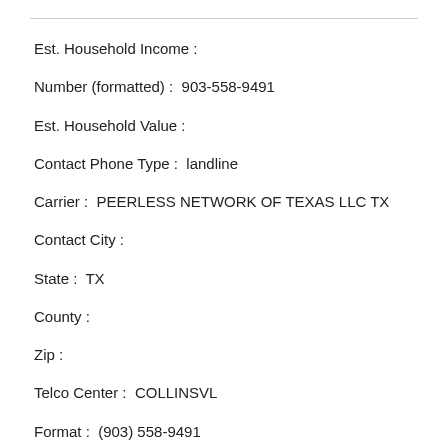Est. Household Income :
Number (formatted) :  903-558-9491
Est. Household Value :
Contact Phone Type :  landline
Carrier :  PEERLESS NETWORK OF TEXAS LLC TX
Contact City :
State :  TX
County :
Zip :
Telco Center :  COLLINSVL
Format :  (903) 558-9491